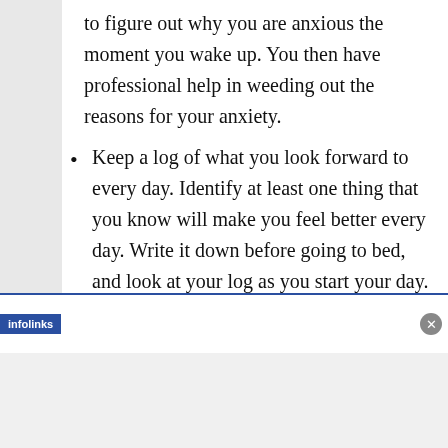to figure out why you are anxious the moment you wake up. You then have professional help in weeding out the reasons for your anxiety.
Keep a log of what you look forward to every day. Identify at least one thing that you know will make you feel better every day. Write it down before going to bed, and look at your log as you start your day.
Do it with a partner.